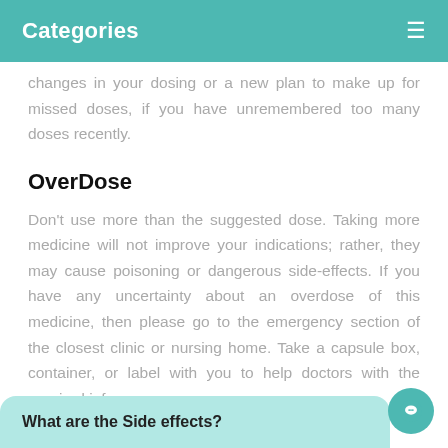Categories
changes in your dosing or a new plan to make up for missed doses, if you have unremembered too many doses recently.
OverDose
Don't use more than the suggested dose. Taking more medicine will not improve your indications; rather, they may cause poisoning or dangerous side-effects. If you have any uncertainty about an overdose of this medicine, then please go to the emergency section of the closest clinic or nursing home. Take a capsule box, container, or label with you to help doctors with the required info.
What are the Side effects?